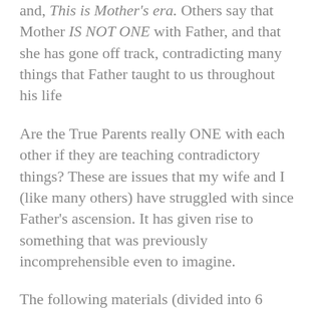and, This is Mother's era. Others say that Mother IS NOT ONE with Father, and that she has gone off track, contradicting many things that Father taught to us throughout his life
Are the True Parents really ONE with each other if they are teaching contradictory things? These are issues that my wife and I (like many others) have struggled with since Father's ascension. It has given rise to something that was previously incomprehensible even to imagine.
The following materials (divided into 6 parts) convey things that Mother has said and done since (and before) Father ascended. Are we to have 'blind faith' in what Mother is saying today, with no consideration given to the